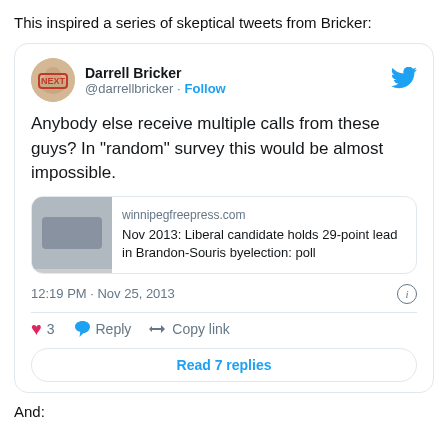This inspired a series of skeptical tweets from Bricker:
[Figure (screenshot): Embedded tweet from Darrell Bricker (@darrellbricker) with Follow button and Twitter bird logo. Tweet text: 'Anybody else receive multiple calls from these guys? In "random" survey this would be almost impossible.' Contains link preview for winnipegfreepress.com: 'Nov 2013: Liberal candidate holds 29-point lead in Brandon-Souris byelection: poll'. Timestamp: 12:19 PM · Nov 25, 2013. Shows 3 likes, Reply, Copy link actions, and a 'Read 7 replies' button.]
And: